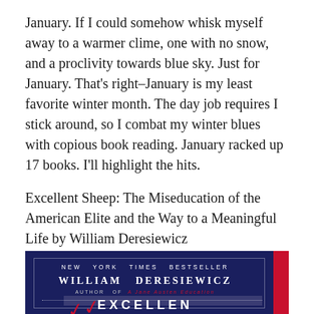January. If I could somehow whisk myself away to a warmer clime, one with no snow, and a proclivity towards blue sky. Just for January. That's right–January is my least favorite winter month. The day job requires I stick around, so I combat my winter blues with copious book reading. January racked up 17 books. I'll highlight the hits.
Excellent Sheep: The Miseducation of the American Elite and the Way to a Meaningful Life by William Deresiewicz
[Figure (photo): Book cover of 'Excellent Sheep' by William Deresiewicz. Dark navy blue background with red side strip. Text reads: NEW YORK TIMES BESTSELLER, WILLIAM DERESIEWICZ, AUTHOR OF A JANE AUSTEN EDUCATION (in red italic). Red decorative bird/feather ornament. Bottom shows partial large text: EXCELLENT.]